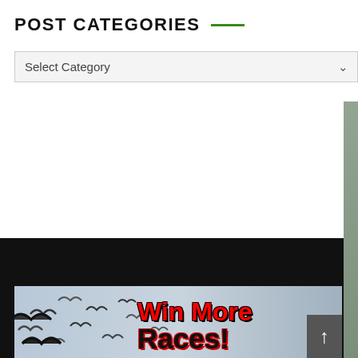POST CATEGORIES
Select Category
[Figure (illustration): Newsletter signup banner featuring a pigeon and text 'Join Our Newsletter! and get exclusive content' on a blue-green background]
[Figure (illustration): Advertisement banner with flying pigeons and red bold text 'Win More Races!']